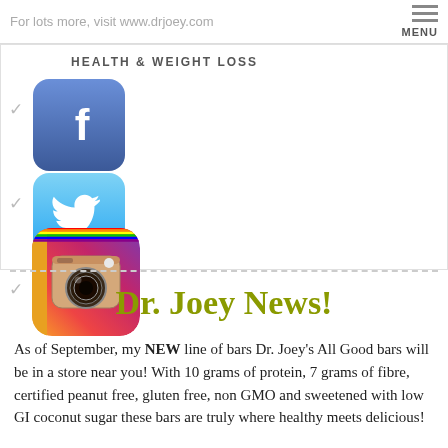For lots more, visit www.drjoey.com  MENU
HEALTH & WEIGHT LOSS
[Figure (screenshot): Facebook app icon - blue square with rounded corners and white F logo]
[Figure (screenshot): Twitter app icon - light blue square with rounded corners and white bird logo]
[Figure (screenshot): Instagram app icon - stylized camera on gradient background]
Dr. Joey News!
As of September, my NEW line of bars Dr. Joey's All Good bars will be in a store near you! With 10 grams of protein, 7 grams of fibre, certified peanut free, gluten free, non GMO and sweetened with low GI coconut sugar these bars are truly where healthy meets delicious!